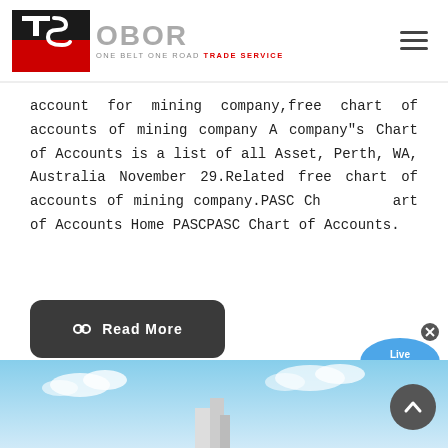[Figure (logo): OBOR Trade Service logo with TS monogram in red/black and 'OBOR ONE BELT ONE ROAD TRADE SERVICE' text]
account for mining company,free chart of accounts of mining company A company"s Chart of Accounts is a list of all Asset, Perth, WA, Australia November 29.Related free chart of accounts of mining company.PASC Chart of Accounts Home PASCPASC Chart of Accounts.
[Figure (illustration): Live Chat speech bubble UI element with blue bubble and 'Live Chat' text, with X close button]
[Figure (other): Read More button: dark grey rounded rectangle with chain-link icon and 'Read More' text in white]
[Figure (photo): Bottom portion showing sky with clouds and part of a building/structure at the bottom of the page]